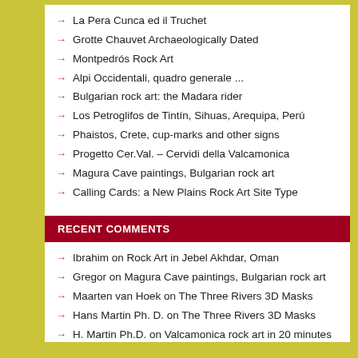La Pera Cunca ed il Truchet
Grotte Chauvet Archaeologically Dated
Montpedrós Rock Art
Alpi Occidentali, quadro generale ...
Bulgarian rock art: the Madara rider
Los Petroglifos de Tintín, Sihuas, Arequipa, Perú
Phaistos, Crete, cup-marks and other signs
Progetto Cer.Val. – Cervidi della Valcamonica
Magura Cave paintings, Bulgarian rock art
Calling Cards: a New Plains Rock Art Site Type
RECENT COMMENTS
Ibrahim on Rock Art in Jebel Akhdar, Oman
Gregor on Magura Cave paintings, Bulgarian rock art
Maarten van Hoek on The Three Rivers 3D Masks
Hans Martin Ph. D. on The Three Rivers 3D Masks
H. Martin Ph.D. on Valcamonica rock art in 20 minutes